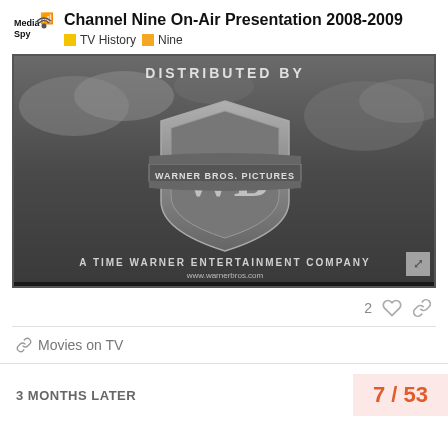Channel Nine On-Air Presentation 2008-2009 | TV History | Nine
[Figure (screenshot): Black and white Warner Bros. Pictures logo showing the WB shield with text 'DISTRIBUTED BY' at top, 'WARNER BROS. PICTURES' on banner across shield, 'A TIME WARNER ENTERTAINMENT COMPANY' and 'www.warnerbros.com' below, against cloudy sky background.]
2
Movies on TV
3 MONTHS LATER
7 / 53